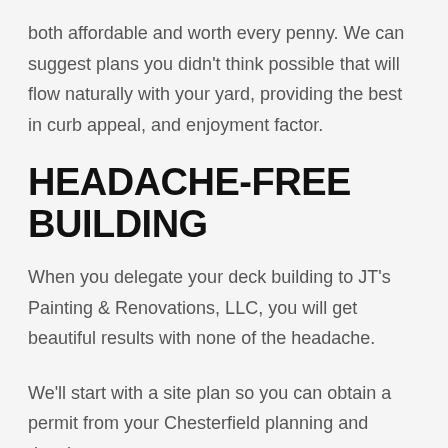both affordable and worth every penny. We can suggest plans you didn't think possible that will flow naturally with your yard, providing the best in curb appeal, and enjoyment factor.
HEADACHE-FREE BUILDING
When you delegate your deck building to JT's Painting & Renovations, LLC, you will get beautiful results with none of the headache.
We'll start with a site plan so you can obtain a permit from your Chesterfield planning and development